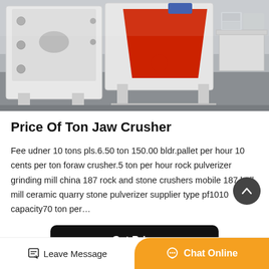[Figure (photo): Industrial jaw crusher machine in a factory setting. Large white and red heavy machinery with metal frame visible. Additional equipment visible in the background.]
Price Of Ton Jaw Crusher
Fee udner 10 tons pls.6.50 ton 150.00 bldr.pallet per hour 10 cents per ton foraw crusher.5 ton per hour rock pulverizer grinding mill china 187 rock and stone crushers mobile 187 ball mill ceramic quarry stone pulverizer supplier type pf1010 capacity70 ton per…
Get Price
Leave Message
Chat Online